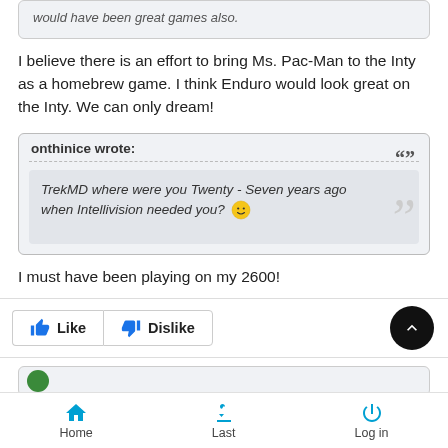would have been great games also.
I believe there is an effort to bring Ms. Pac-Man to the Inty as a homebrew game. I think Enduro would look great on the Inty. We can only dream!
onthinice wrote:
TrekMD where were you Twenty - Seven years ago when Intellivision needed you? 😀
I must have been playing on my 2600!
Like  Dislike
Home  Last  Log in